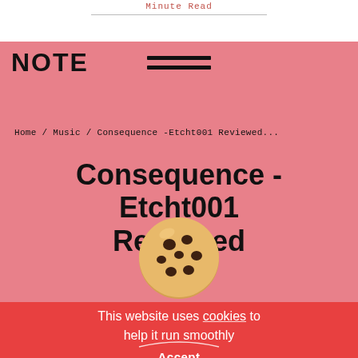Minute Read
NOTE
[Figure (illustration): Hamburger menu icon with two horizontal black bars]
Home / Music / Consequence -Etcht001 Reviewed...
Consequence -Etcht001 Reviewed
[Figure (illustration): A chocolate chip cookie emoji/illustration, round, golden brown with dark chocolate chips]
This website uses cookies to help it run smoothly
Accept